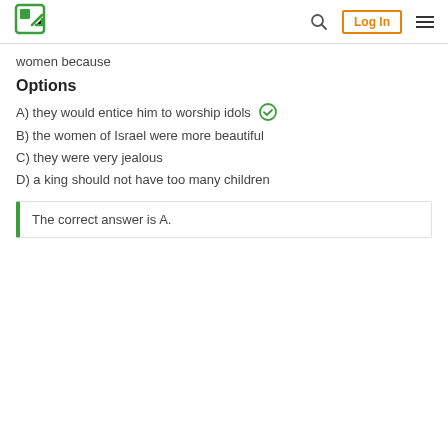Log In
women because
Options
A) they would entice him to worship idols
B) the women of Israel were more beautiful
C) they were very jealous
D) a king should not have too many children
The correct answer is A.